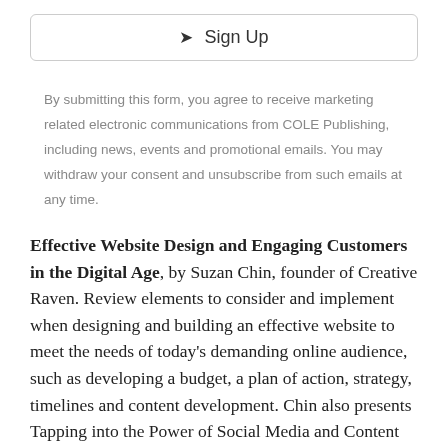[Figure (other): Sign Up button with paper airplane icon, bordered with rounded rectangle]
By submitting this form, you agree to receive marketing related electronic communications from COLE Publishing, including news, events and promotional emails. You may withdraw your consent and unsubscribe from such emails at any time.
Effective Website Design and Engaging Customers in the Digital Age, by Suzan Chin, founder of Creative Raven. Review elements to consider and implement when designing and building an effective website to meet the needs of today's demanding online audience, such as developing a budget, a plan of action, strategy, timelines and content development. Chin also presents Tapping into the Power of Social Media and Content Marketing, reviewing the pros and cons of the various facets of social media.